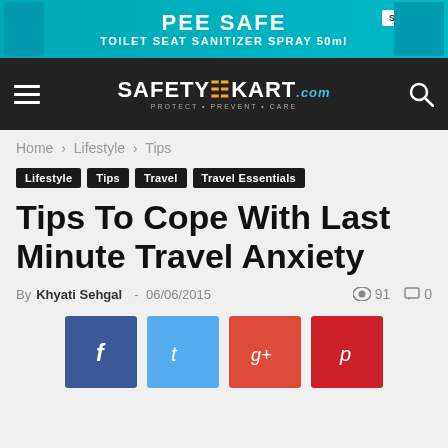[Figure (screenshot): PeeSafe advertisement banner: teal background with product images, text 'PEE SAFE - TOILET SEAT SANITIZER SPRAY 50ml' and 'Shop Now' button]
[Figure (logo): SafetyKart.com navigation bar with hamburger menu, logo, and search icon on dark background]
Home › Lifestyle › Tips
Lifestyle  Tips  Travel  Travel Essentials
Tips To Cope With Last Minute Travel Anxiety
By Khyati Sehgal - 06/06/2015  👁 91  💬 0
[Figure (infographic): Social share buttons: Facebook, Twitter, Google+, Pinterest]